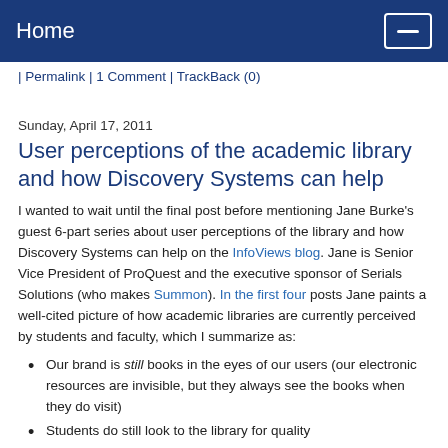Home
| Permalink | 1 Comment | TrackBack (0)
Sunday, April 17, 2011
User perceptions of the academic library and how Discovery Systems can help
I wanted to wait until the final post before mentioning Jane Burke's guest 6-part series about user perceptions of the library and how Discovery Systems can help on the InfoViews blog. Jane is Senior Vice President of ProQuest and the executive sponsor of Serials Solutions (who makes Summon). In the first four posts Jane paints a well-cited picture of how academic libraries are currently perceived by students and faculty, which I summarize as:
Our brand is still books in the eyes of our users (our electronic resources are invisible, but they always see the books when they do visit)
Students do still look to the library for quality
Students want to be shown how to use the library, not just given a tour and...